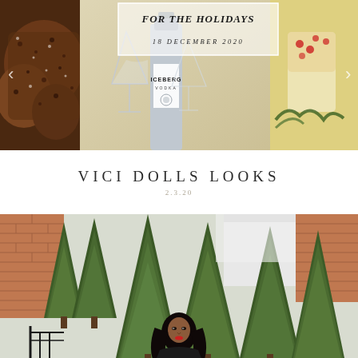[Figure (photo): Holiday cocktails and food photo banner with Iceberg Vodka bottle, martini glasses, festive drinks, and chocolate treats. Overlay box with italic title text and date.]
FOR THE HOLIDAYS
18 DECEMBER 2020
VICI DOLLS LOOKS
2.3.20
[Figure (photo): Woman with long dark hair standing outdoors in front of tall evergreen cedar/arborvitae trees with brick building visible in background. Fashion blog photo.]